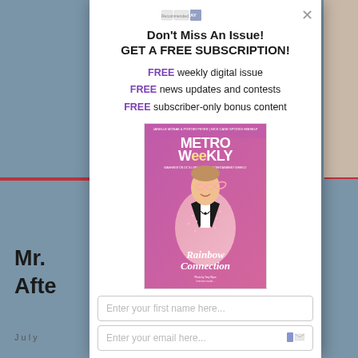[Figure (screenshot): Background of a webpage with blue-grey color, partial magazine cover visible on right, and article title text 'Mr.' and 'Afte' visible at lower left]
Don't Miss An Issue!
GET A FREE SUBSCRIPTION!
FREE weekly digital issue
FREE news updates and contests
FREE subscriber-only bonus content
[Figure (photo): Metro Weekly magazine cover showing a man in a pink sequined tuxedo jacket with black bow tie, holding pink glasses, with text 'Rainbow Connection' in script font overlaid on the purple/pink background. Metro Weekly masthead at top.]
Enter your first name here...
Enter your email here...